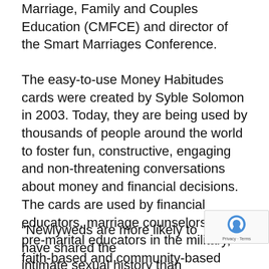Marriage, Family and Couples Education (CMFCE) and director of the Smart Marriages Conference.
The easy-to-use Money Habitudes cards were created by Syble Solomon in 2003. Today, they are being used by thousands of people around the world to foster fun, constructive, engaging and non-threatening conversations about money and financial decisions. The cards are used by financial educators, marriage counselors and pre-marital educators in the military, faith-based and community-based programs as well as by business consultants, teachers and youth leaders, individuals and couples. Special editions of the cards are available for young people and Spanish speakers. Complete training materials are available for all versions.
“Newlyweds are more likely to have shared their intimate sexual history than their financial history